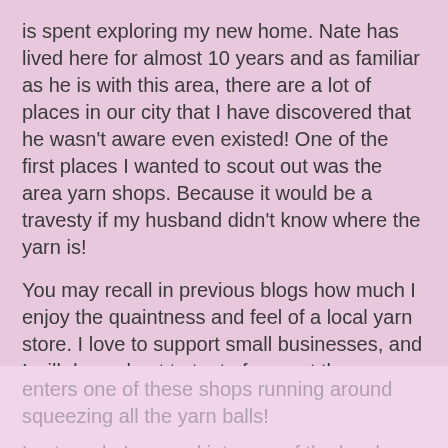is spent exploring my new home. Nate has lived here for almost 10 years and as familiar as he is with this area, there are a lot of places in our city that I have discovered that he wasn't aware even existed! One of the first places I wanted to scout out was the area yarn shops. Because it would be a travesty if my husband didn't know where the yarn is!

You may recall in previous blogs how much I enjoy the quaintness and feel of a local yarn store. I love to support small businesses, and I will do my best to try to frequent them as often as I can. Fortunately for me, my city has a few in and around the area! Insert a visual of wide-eyed Nadia looking like a kid in a candy store each time she enters one of these shops running around squeezing all the yarn balls!

Last week, I popped into one of the local shops, Unwound Artisan Yarn Shop here in La Crosse, WI